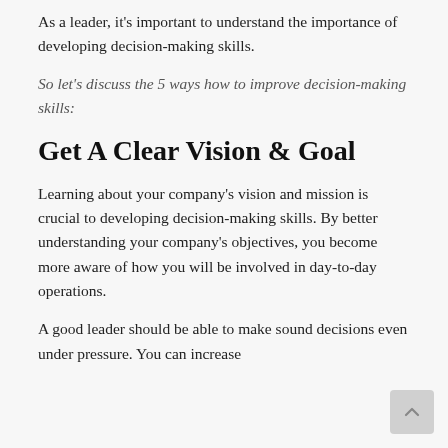As a leader, it's important to understand the importance of developing decision-making skills.
So let's discuss the 5 ways how to improve decision-making skills:
Get A Clear Vision & Goal
Learning about your company's vision and mission is crucial to developing decision-making skills. By better understanding your company's objectives, you become more aware of how you will be involved in day-to-day operations.
A good leader should be able to make sound decisions even under pressure. You can increase